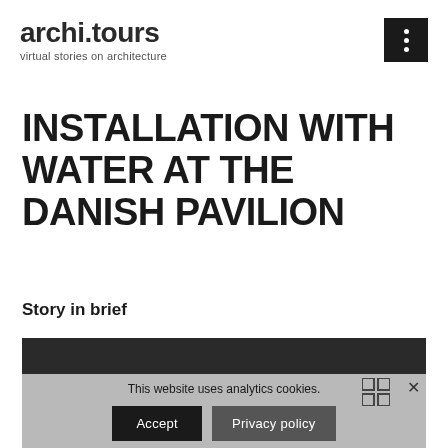archi.tours — virtual stories on architecture
INSTALLATION WITH WATER AT THE DANISH PAVILION
Story in brief
[Figure (screenshot): Dark video player area at the bottom of the page]
This website uses analytics cookies.
Accept | Privacy policy